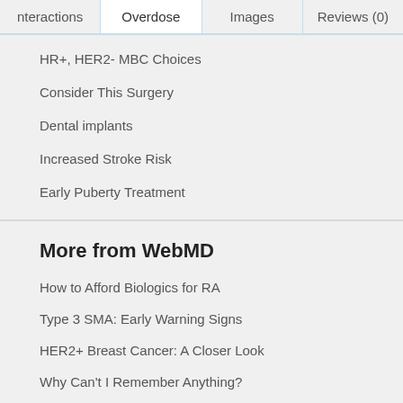nteractions | Overdose | Images | Reviews (0)
HR+, HER2- MBC Choices
Consider This Surgery
Dental implants
Increased Stroke Risk
Early Puberty Treatment
More from WebMD
How to Afford Biologics for RA
Type 3 SMA: Early Warning Signs
HER2+ Breast Cancer: A Closer Look
Why Can't I Remember Anything?
ADVERTISEMENT